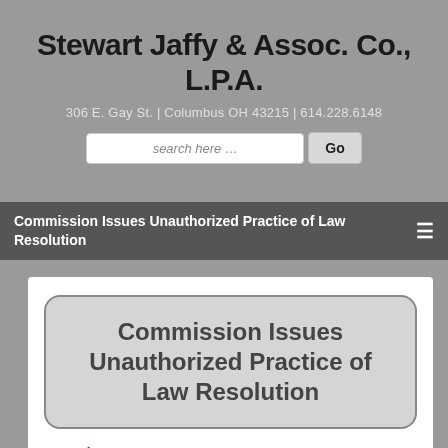Stewart Jaffy & Assoc. Co., L.P.A.
306 E. Gay St. | Columbus OH 43215 | 614.228.6148
Commission Issues Unauthorized Practice of Law Resolution
Commission Issues Unauthorized Practice of Law Resolution
Posted: June, 2004